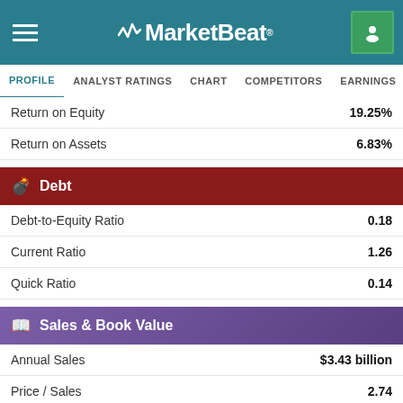MarketBeat
PROFILE | ANALYST RATINGS | CHART | COMPETITORS | EARNINGS | FINANCIALS
| Metric | Value |
| --- | --- |
| Return on Equity | 19.25% |
| Return on Assets | 6.83% |
Debt
| Metric | Value |
| --- | --- |
| Debt-to-Equity Ratio | 0.18 |
| Current Ratio | 1.26 |
| Quick Ratio | 0.14 |
Sales & Book Value
| Metric | Value |
| --- | --- |
| Annual Sales | $3.43 billion |
| Price / Sales | 2.74 |
| Cash Flow | $3.64 per share |
| Price / Cash Flow | 24.34 |
| Book Value | $14.09 per share |